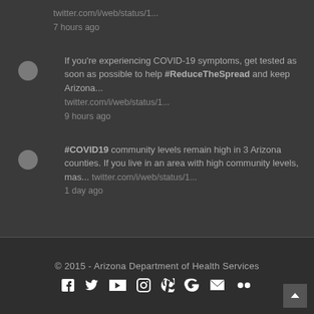twitter.com/i/web/status/1...
7 hours ago
If you're experiencing COVID-19 symptoms, get tested as soon as possible to help #ReduceTheSpread and keep Arizona... twitter.com/i/web/status/1... 9 hours ago
#COVID19 community levels remain high in 3 Arizona counties. If you live in an area with high community levels, mas... twitter.com/i/web/status/1... 1 day ago
© 2015 - Arizona Department of Health Services